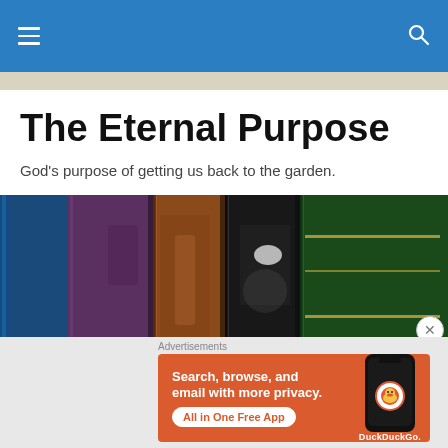Navigation menu header with hamburger icon and search icon
The Eternal Purpose
God's purpose of getting us back to the garden.
[Figure (photo): Close-up photograph of old books with spines in blue, purple, brown, black, and green colors standing upright]
[Figure (screenshot): DuckDuckGo advertisement banner showing 'Search, browse, and email with more privacy. All in One Free App' with DuckDuckGo logo and phone graphic on orange background]